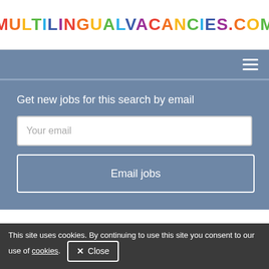MULTILINGUALVACANCIES.COM
Get new jobs for this search by email
Your email
Email jobs
1   2   next >>
This site uses cookies. By continuing to use this site you consent to our use of cookies.